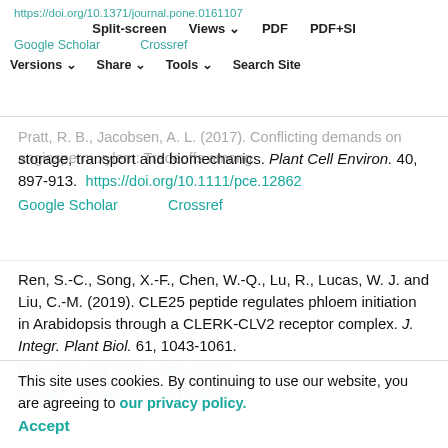https://doi.org/10.1371/journal.pone.0161107 | Split-screen | Views | PDF | PDF+SI | Google Scholar | Crossref
Versions | Share | Tools | Search Site
Pratt, R. B., Jacobsen, A. L. (2017). Conflicting demands on angiosperm xylem: Tradeoffs among storage, transport and biomechanics. Plant Cell Environ. 40, 897-913. https://doi.org/10.1111/pce.12862 Google Scholar Crossref
Ren, S.-C., Song, X.-F., Chen, W.-Q., Lu, R., Lucas, W. J. and Liu, C.-M. (2019). CLE25 peptide regulates phloem initiation in Arabidopsis through a CLERK-CLV2 receptor complex. J. Integr. Plant Biol. 61, 1043-1061. https://doi.org/10.1111/jipb.12846 Google Scholar Crossref
Rodriguez-Villalon, A., Gujas, B., Kang, Y. H., Breda, A. S., Cattaneo, P., Depuydt, S. and Hardtke, C. S. (2014). Molecular genetic framework for protophloem formation. Proc. Natl. Acad. Sci. USA 111, 11551-11556.
This site uses cookies. By continuing to use our website, you are agreeing to our privacy policy. Accept